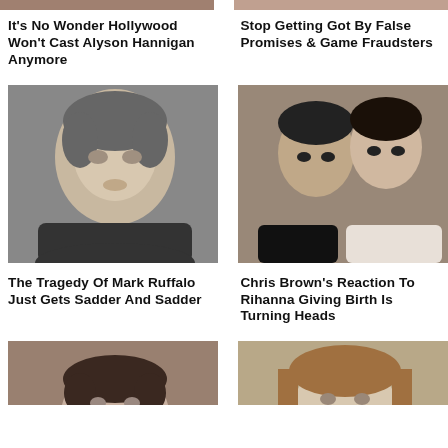[Figure (photo): Partial photo of a person visible at top left]
[Figure (photo): Partial photo of a person visible at top right]
It's No Wonder Hollywood Won't Cast Alyson Hannigan Anymore
Stop Getting Got By False Promises & Game Fraudsters
[Figure (photo): Portrait photo of Mark Ruffalo, middle-aged man with grey-flecked hair]
[Figure (photo): Photo of Chris Brown and Rihanna together]
The Tragedy Of Mark Ruffalo Just Gets Sadder And Sadder
Chris Brown's Reaction To Rihanna Giving Birth Is Turning Heads
[Figure (photo): Photo of Ashton Kutcher, young man with dark hair]
[Figure (photo): Photo of a person with light brown hair]